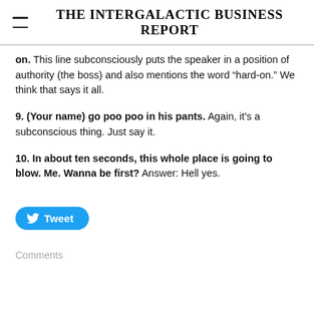THE INTERGALACTIC BUSINESS REPORT
on. This line subconsciously puts the speaker in a position of authority (the boss) and also mentions the word “hard-on.” We think that says it all.
9. (Your name) go poo poo in his pants. Again, it’s a subconscious thing. Just say it.
10. In about ten seconds, this whole place is going to blow. Me. Wanna be first? Answer: Hell yes.
[Figure (other): Twitter Tweet button with bird icon]
Comments